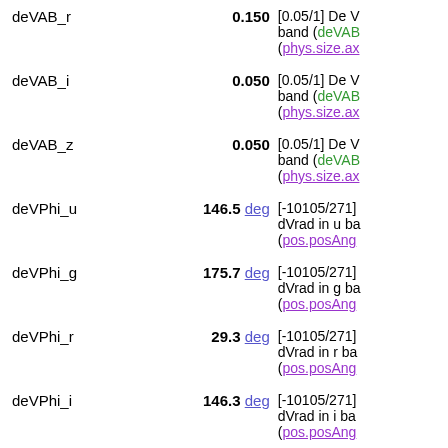| Name | Value | Description |
| --- | --- | --- |
| deVAB_r | 0.150 | [0.05/1] De V band (deVAB... (phys.size.ax... |
| deVAB_i | 0.050 | [0.05/1] De V band (deVAB... (phys.size.ax... |
| deVAB_z | 0.050 | [0.05/1] De V band (deVAB... (phys.size.ax... |
| deVPhi_u | 146.5 deg | [-10105/271] dVrad in u ba... (pos.posAng... |
| deVPhi_g | 175.7 deg | [-10105/271] dVrad in g ba... (pos.posAng... |
| deVPhi_r | 29.3 deg | [-10105/271] dVrad in r ba... (pos.posAng... |
| deVPhi_i | 146.3 deg | [-10105/271] dVrad in i ba... (pos.posAng... |
| deVPhi_z | 30.4 deg | [-10105/271] dVrad in z ba... (pos.posAng... |